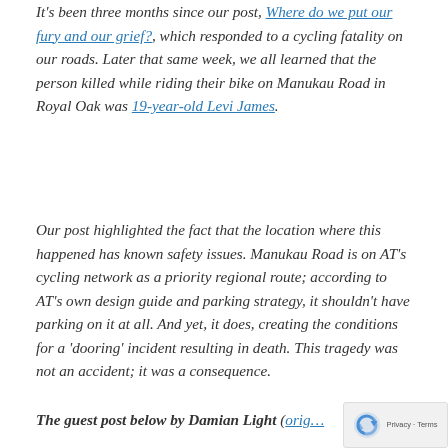It's been three months since our post, Where do we put our fury and our grief?, which responded to a cycling fatality on our roads. Later that same week, we all learned that the person killed while riding their bike on Manukau Road in Royal Oak was 19-year-old Levi James.
Our post highlighted the fact that the location where this happened has known safety issues. Manukau Road is on AT's cycling network as a priority regional route; according to AT's own design guide and parking strategy, it shouldn't have parking on it at all. And yet, it does, creating the conditions for a 'dooring' incident resulting in death. This tragedy was not an accident; it was a consequence.
The guest post below by Damian Light (orig…